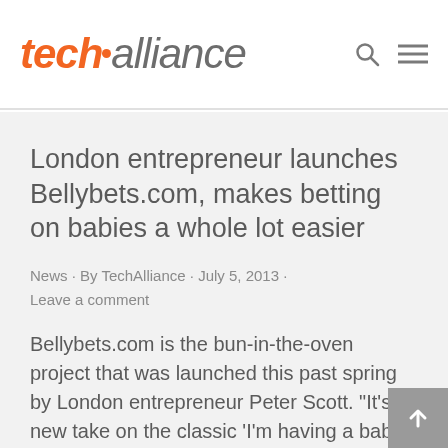techalliance
London entrepreneur launches Bellybets.com, makes betting on babies a whole lot easier
News · By TechAlliance · July 5, 2013 · Leave a comment
Bellybets.com is the bun-in-the-oven project that was launched this past spring by London entrepreneur Peter Scott. "It's a new take on the classic 'I'm having a baby, let's guess what I'm having' that lots of people